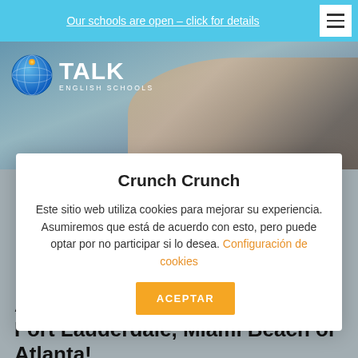Our schools are open – click for details
[Figure (logo): TALK English Schools logo with globe icon and text]
Crunch Crunch
Este sitio web utiliza cookies para mejorar su experiencia. Asumiremos que está de acuerdo con esto, pero puede optar por no participar si lo desea. Configuración de cookies
ACEPTAR
Apply to Take your IELTS test in Fort Lauderdale, Miami Beach or Atlanta!
It's all online and it's as easy as 1, 2, 3!